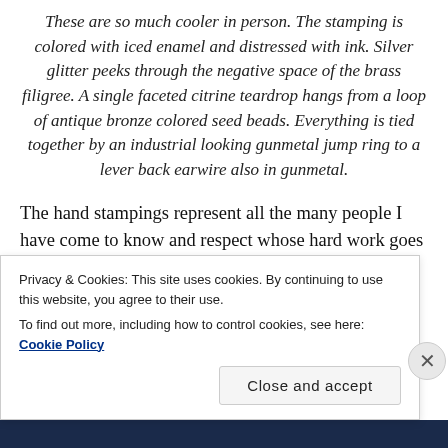These are so much cooler in person. The stamping is colored with iced enamel and distressed with ink. Silver glitter peeks through the negative space of the brass filigree. A single faceted citrine teardrop hangs from a loop of antique bronze colored seed beads. Everything is tied together by an industrial looking gunmetal jump ring to a lever back earwire also in gunmetal.
The hand stampings represent all the many people I have come to know and respect whose hard work goes into all aspects of a show. I smile at the Ivory enameled
Privacy & Cookies: This site uses cookies. By continuing to use this website, you agree to their use.
To find out more, including how to control cookies, see here: Cookie Policy
Close and accept